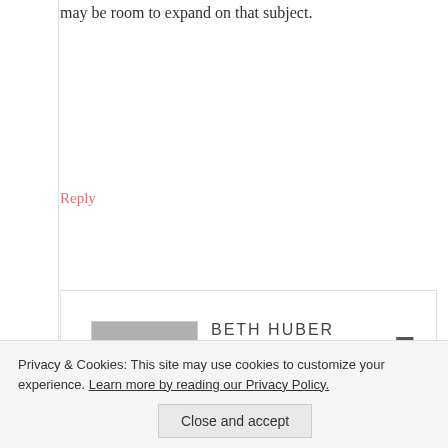may be room to expand on that subject.
Reply
BETH HUBER says November 20, 2013 at 6:36 am
Privacy & Cookies: This site may use cookies to customize your experience. Learn more by reading our Privacy Policy.
Close and accept
current position includes both